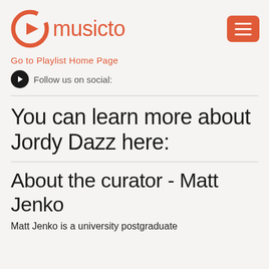musicto
Go to Playlist Home Page
Follow us on social:
You can learn more about Jordy Dazz here:
About the curator - Matt Jenko
Matt Jenko is a university postgraduate